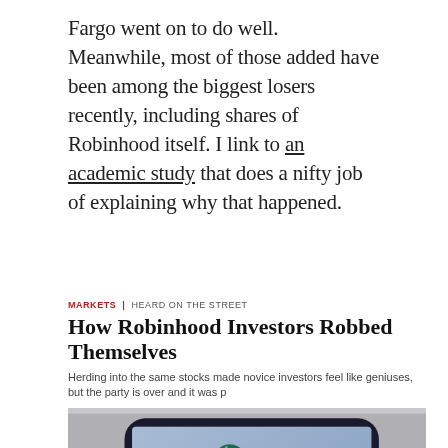Fargo went on to do well. Meanwhile, most of those added have been among the biggest losers recently, including shares of Robinhood itself. I link to an academic study that does a nifty job of explaining why that happened.
MARKETS | HEARD ON THE STREET
How Robinhood Investors Robbed Themselves
Herding into the same stocks made novice investors feel like geniuses, but the party is over and it was p
[Figure (photo): A hand holding a smartphone displaying the Robinhood app welcome screen with the text 'Welcome to Robinhood - Start Investing Commission-Free' and the Robinhood green feather logo.]